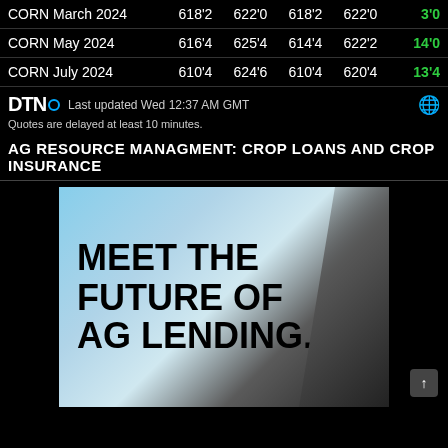| Contract | Open | High | Low | Last | Change |
| --- | --- | --- | --- | --- | --- |
| CORN March 2024 | 618'2 | 622'0 | 618'2 | 622'0 | 3'0 |
| CORN May 2024 | 616'4 | 625'4 | 614'4 | 622'2 | 14'0 |
| CORN July 2024 | 610'4 | 624'6 | 610'4 | 620'4 | 13'4 |
DTN • Last updated Wed 12:37 AM GMT
Quotes are delayed at least 10 minutes.
AG RESOURCE MANAGMENT: CROP LOANS AND CROP INSURANCE
[Figure (photo): Advertisement image showing a sky with clouds and a modern building angle, with large bold text: MEET THE FUTURE OF AG LENDING.]